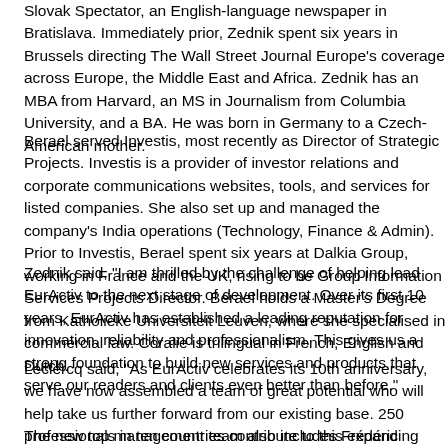Slovak Spectator, an English-language newspaper in Bratislava. Immediately prior, Zednik spent six years in Brussels directing The Wall Street Journal Europe's coverage across Europe, the Middle East and Africa. Zednik has an MBA from Harvard, an MS in Journalism from Columbia University, and a BA. He was born in Germany to a Czech-American mother.
Berael served Investis, most recently as Director of Strategic Projects. Investis is a provider of investor relations and corporate communications websites, tools, and services for listed companies. She also set up and managed the company's India operations (Technology, Finance & Admin). Prior to Investis, Berael spent six years at Dalkia Group, working in France and the UK, rising to be Group Information Services Projects Director. Berael holds a Master's Degree from Katholieke Universiteit Leuven, where she specialised in commercial law. Coralie is trilingual in French, English and Dutch.
Zednik said, "I am thrilled by the challenge of helping lead EurActiv to the next stage of development. Over its first 10 years, EurActiv has established a leading reputation for innovation, reliability and professionalism. This gives us a strong foundation to build new services and products that serve our readers and clients even better than before."
Leclercq said, "As EurActiv celebrates its 10th anniversary, we have now assembled a team of great potential who will help take us further forward from our existing base. 250 professionals in ten countries contribute to this expanding and exciting venture. We have done a lot in ten years but have ambitious plans to build an even stronger brand."
The new top management team also includes Frédéric Simon, Editor and